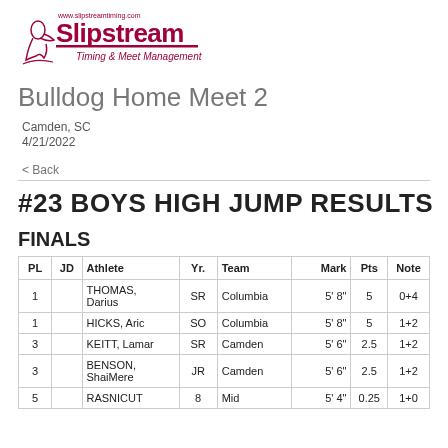[Figure (logo): Slipstream Timing & Meet Management logo with red text and runner icon]
Bulldog Home Meet 2
Camden, SC
4/21/2022
< Back
#23 BOYS HIGH JUMP RESULTS
FINALS
| PL | JD | Athlete | Yr. | Team | Mark | Pts | Note |
| --- | --- | --- | --- | --- | --- | --- | --- |
| 1 |  | THOMAS, Darius | SR | Columbia | 5' 8" | 5 | 0+4 |
| 1 |  | HICKS, Aric | SO | Columbia | 5' 8" | 5 | 1+2 |
| 3 |  | KEITT, Lamar | SR | Camden | 5' 6" | 2.5 | 1+2 |
| 3 |  | BENSON, ShaiMere | JR | Camden | 5' 6" | 2.5 | 1+2 |
| 5 |  | RASNICHT, ... | 8 | Mid | 5' 4" | 0.25 | 1+0 |